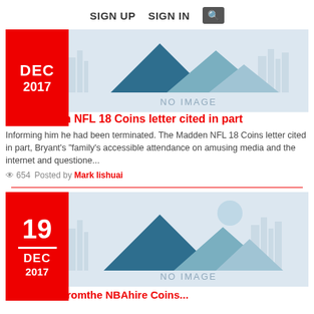SIGN UP   SIGN IN  🔍
[Figure (illustration): No image placeholder with mountain silhouettes and city skyline, DEC 2017 date badge in red]
The Madden NFL 18 Coins letter cited in part
Informing him he had been terminated. The Madden NFL 18 Coins letter cited in part, Bryant's "family's accessible attendance on amusing media and the internet and questione...
654   Posted by Mark lishuai
[Figure (illustration): No image placeholder with mountain silhouettes, city skyline, and sun, 19 DEC 2017 date badge in red]
Letherolderfromthe NBAhire Coins...